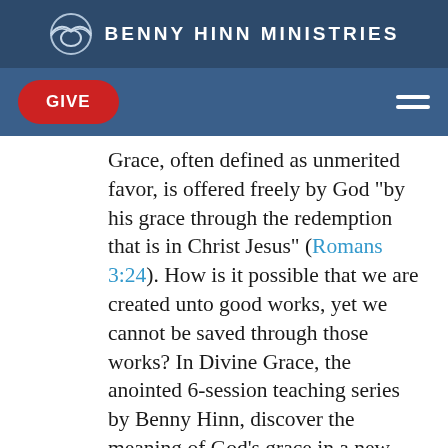BENNY HINN MINISTRIES
GIVE
Grace, often defined as unmerited favor, is offered freely by God “by his grace through the redemption that is in Christ Jesus” (Romans 3:24). How is it possible that we are created unto good works, yet we cannot be saved through those works? In Divine Grace, the anointed 6-session teaching series by Benny Hinn, discover the meaning of God’s grace in a new, deep, and powerful way. Download your copy instantly!